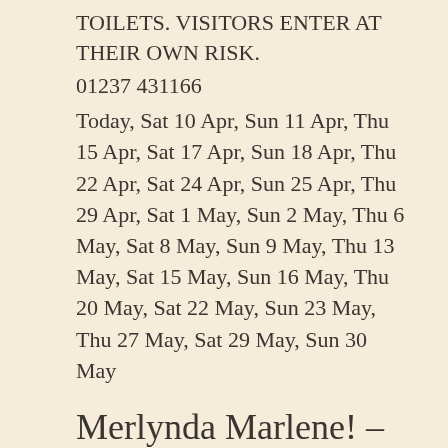TOILETS. VISITORS ENTER AT THEIR OWN RISK.
01237 431166
Today, Sat 10 Apr, Sun 11 Apr, Thu 15 Apr, Sat 17 Apr, Sun 18 Apr, Thu 22 Apr, Sat 24 Apr, Sun 25 Apr, Thu 29 Apr, Sat 1 May, Sun 2 May, Thu 6 May, Sat 8 May, Sun 9 May, Thu 13 May, Sat 15 May, Sun 16 May, Thu 20 May, Sat 22 May, Sun 23 May, Thu 27 May, Sat 29 May, Sun 30 May
Merlynda Marlene! – Live Comedy Songs Cabaret Evenings – Every Week